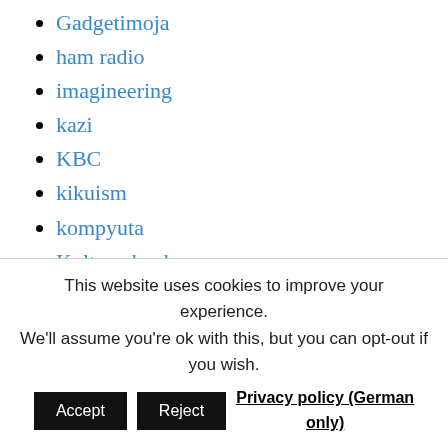Gadgetimoja
ham radio
imagineering
kazi
KBC
kikuism
kompyuta
Kulturschock
literature
maisha
maji
This website uses cookies to improve your experience. We'll assume you're ok with this, but you can opt-out if you wish. Accept Reject Privacy policy (German only)